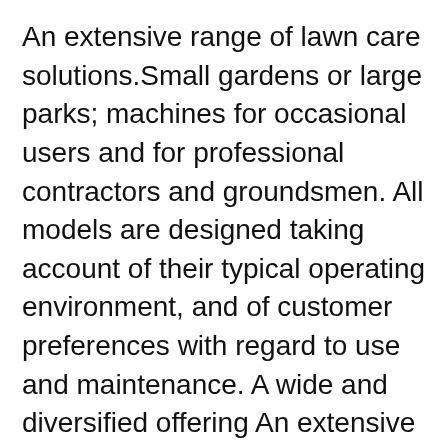An extensive range of lawn care solutions.Small gardens or large parks; machines for occasional users and for professional contractors and groundsmen. All models are designed taking account of their typical operating environment, and of customer preferences with regard to use and maintenance. A wide and diversified offering An extensive range of lawn care solutions.Small gardens or large parks; machines for occasional users and for professional contractors and groundsmen. All models are designed taking account of their typical operating environment, and of customer preferences with regard to use and maintenance. A wide and diversified